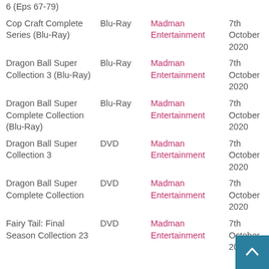| Title | Format | Publisher | Release Date | Price |
| --- | --- | --- | --- | --- |
| 6 (Eps 67-79) |  |  |  |  |
| Cop Craft Complete Series (Blu-Ray) | Blu-Ray | Madman Entertainment | 7th October 2020 | N/A |
| Dragon Ball Super Collection 3 (Blu-Ray) | Blu-Ray | Madman Entertainment | 7th October 2020 | N/A |
| Dragon Ball Super Complete Collection (Blu-Ray) | Blu-Ray | Madman Entertainment | 7th October 2020 | N/A |
| Dragon Ball Super Collection 3 | DVD | Madman Entertainment | 7th October 2020 | N/A |
| Dragon Ball Super Complete Collection | DVD | Madman Entertainment | 7th October 2020 | N/A |
| Fairy Tail: Final Season Collection 23 | DVD | Madman Entertainment | 7th October 2020 |  |